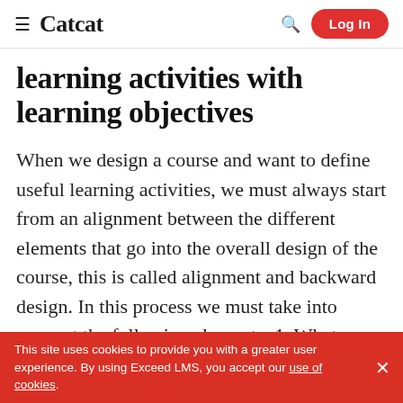≡ Catcat | Log In
learning activities with learning objectives
When we design a course and want to define useful learning activities, we must always start from an alignment between the different elements that go into the overall design of the course, this is called alignment and backward design. In this process we must take into account the following elements: 1. What are the learning objectives
This site uses cookies to provide you with a greater user experience. By using Exceed LMS, you accept our use of cookies.